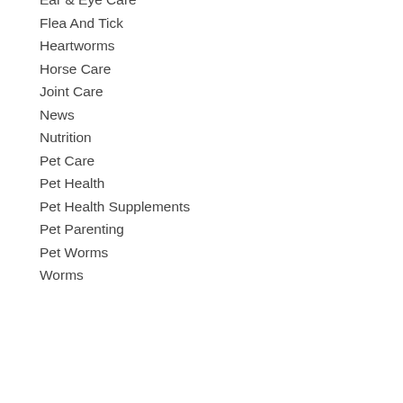Ear & Eye Care
Flea And Tick
Heartworms
Horse Care
Joint Care
News
Nutrition
Pet Care
Pet Health
Pet Health Supplements
Pet Parenting
Pet Worms
Worms